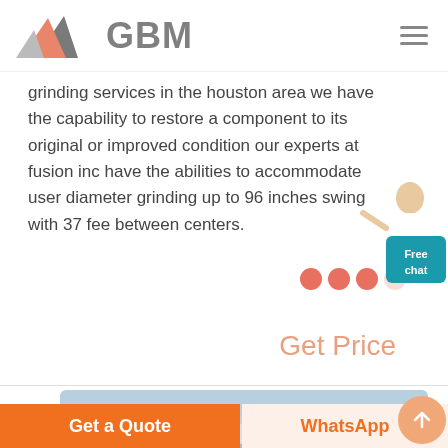GBM
grinding services in the houston area we have the capability to restore a component to its original or improved condition our experts at fusion inc have the abilities to accommodate user diameter grinding up to 96 inches swing with 37 fee between centers.
Get Price
[Figure (photo): Product image of a metal component on blue background]
Get a Quote | WhatsApp